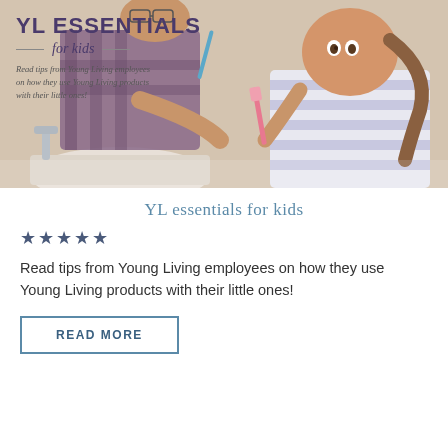[Figure (photo): A father and young daughter brushing their teeth together at a bathroom sink. The father is wearing a plaid shirt and glasses, the girl has a pink toothbrush. Overlay text reads: YL ESSENTIALS for kids. Read tips from Young Living employees on how they use Young Living products with their little ones!]
YL essentials for kids
[Figure (other): Five star rating icons in dark blue/navy color]
Read tips from Young Living employees on how they use Young Living products with their little ones!
READ MORE